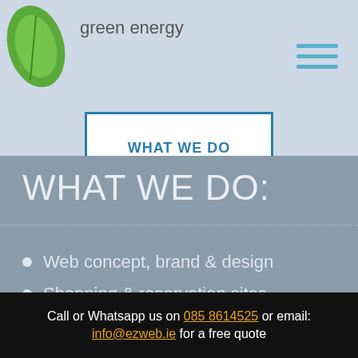[Figure (illustration): Green leaf icon in the top-left corner of the header]
green energy
[Figure (other): Hamburger menu icon with three horizontal teal lines]
WHAT WE DO
WHAT WE DO:
Web concept, brand & design
Shopping & reservation sites
Call or Whatsapp us on 085 8614525 or email: info@ezweb.ie for a free quote